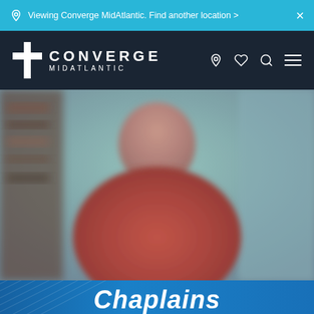Viewing Converge MidAtlantic. Find another location >
[Figure (logo): Converge MidAtlantic cross logo with text CONVERGE MIDATLANTIC in white on dark navy background, with navigation icons (location pin, heart, search, hamburger menu)]
[Figure (photo): Blurry photo of a person wearing a red top, standing in front of a bookshelf background with blurred teal/grey tones]
Chaplains